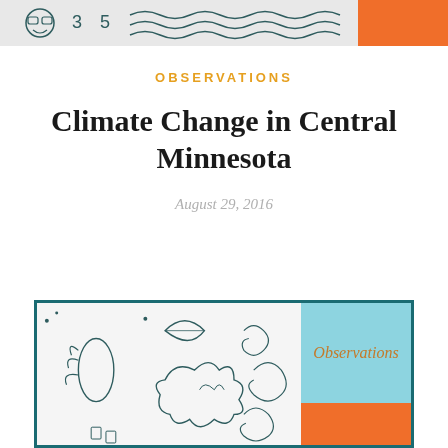[Figure (illustration): Top decorative banner with teal/dark background, abstract doodle illustration on the left portion and orange block on the right]
OBSERVATIONS
Climate Change in Central Minnesota
August 29, 2016
[Figure (illustration): Bottom decorative image panel with teal border containing abstract doodle artwork on the left, and on the right a light blue panel with 'Observations' text in gold italic and an orange panel below it]